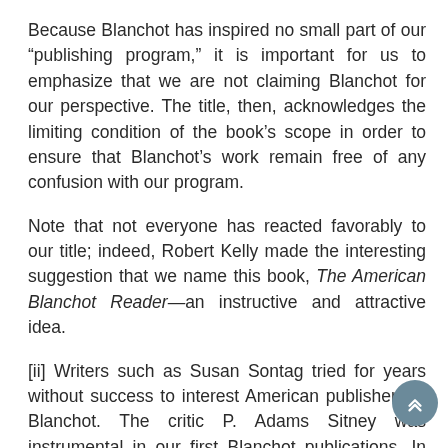Because Blanchot has inspired no small part of our “publishing program,” it is important for us to emphasize that we are not claiming Blanchot for our perspective. The title, then, acknowledges the limiting condition of the book’s scope in order to ensure that Blanchot’s work remain free of any confusion with our program.
Note that not everyone has reacted favorably to our title; indeed, Robert Kelly made the interesting suggestion that we name this book, The American Blanchot Reader—an instructive and attractive idea.
[ii] Writers such as Susan Sontag tried for years without success to interest American publishers in Blanchot. The critic P. Adams Sitney was instrumental in our first Blanchot publications. In 1977 at the Arnolfini Art Center which we (Susan Quasha and George Quasha)